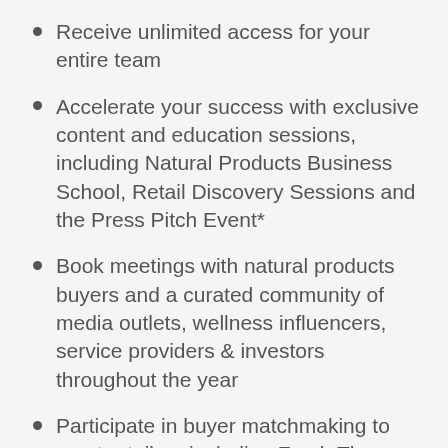Receive unlimited access for your entire team
Accelerate your success with exclusive content and education sessions, including Natural Products Business School, Retail Discovery Sessions and the Press Pitch Event*
Book meetings with natural products buyers and a curated community of media outlets, wellness influencers, service providers & investors throughout the year
Participate in buyer matchmaking to meet retailers including Fresh Thyme Market, Misfits Market, MOM's, PCC Markets, Target, Thrive Market and more